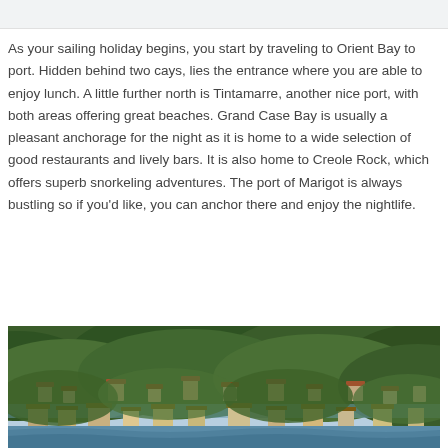As your sailing holiday begins, you start by traveling to Orient Bay to port. Hidden behind two cays, lies the entrance where you are able to enjoy lunch. A little further north is Tintamarre, another nice port, with both areas offering great beaches. Grand Case Bay is usually a pleasant anchorage for the night as it is home to a wide selection of good restaurants and lively bars. It is also home to Creole Rock, which offers superb snorkeling adventures. The port of Marigot is always bustling so if you'd like, you can anchor there and enjoy the nightlife.
[Figure (photo): Aerial or elevated view of a coastal hillside town with dense green tree coverage, buildings with terracotta/red rooftops nestled among trees, and water visible at the bottom edge.]